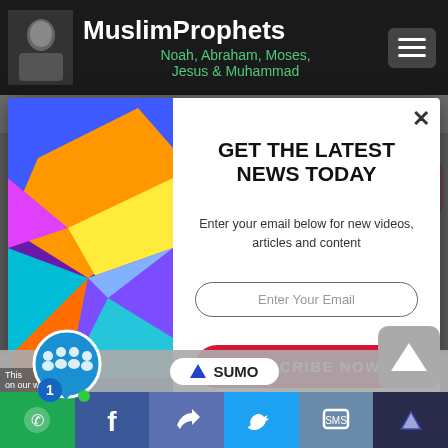MuslimProphets - Noah, Abraham, Moses, Jesus & Muhammad
2731 views · 2 hrs ago | 6 years ago
[Figure (screenshot): Email subscription modal popup with colorful geometric left panel and form on the right]
GET THE LATEST NEWS TODAY
Enter your email below for new videos, articles and content
Enter Your Email
SUBSCRIBE NOW
No Thanks
SUMO | Social sharing buttons